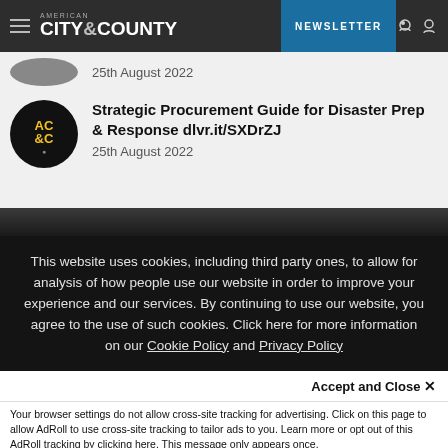AMERICAN CITY & COUNTY | NEWSLETTER
25th August 2022
Strategic Procurement Guide for Disaster Prep & Response dlvr.it/SXDrZJ
25th August 2022
This website uses cookies, including third party ones, to allow for analysis of how people use our website in order to improve your experience and our services. By continuing to use our website, you agree to the use of such cookies. Click here for more information on our Cookie Policy and Privacy Policy
Accept and Close ✕
Your browser settings do not allow cross-site tracking for advertising. Click on this page to allow AdRoll to use cross-site tracking to tailor ads to you. Learn more or opt out of this AdRoll tracking by clicking here. This message only appears once.